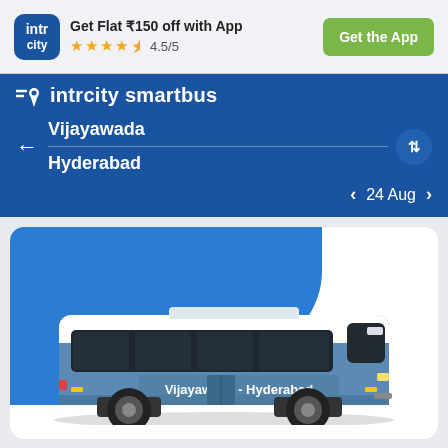[Figure (screenshot): IntrCity app promotional banner with logo, offer text, star rating and Get the App button]
Get Flat ₹150 off with App
4.5/5
Get the App
[Figure (logo): IntrCity SmartBus logo with location pin icon]
intrcity smartbus
Vijayawada
Hyderabad
24 Aug
[Figure (illustration): Blue and white coach bus illustration with 'Vijayawada - Hyderabad' text on the side, on a blue background card]
Trip Overview